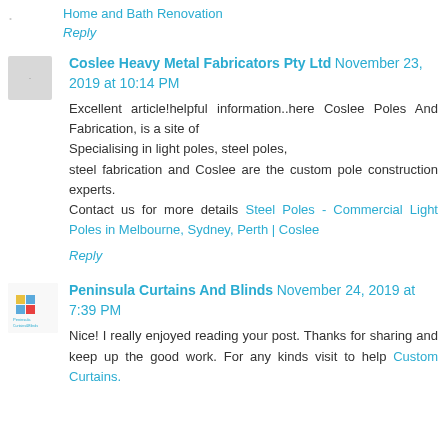Home and Bath Renovation
Reply
Coslee Heavy Metal Fabricators Pty Ltd November 23, 2019 at 10:14 PM
Excellent article!helpful information..here Coslee Poles And Fabrication, is a site of
Specialising in light poles, steel poles,
steel fabrication and Coslee are the custom pole construction experts.
Contact us for more details Steel Poles - Commercial Light Poles in Melbourne, Sydney, Perth | Coslee
Reply
Peninsula Curtains And Blinds November 24, 2019 at 7:39 PM
Nice! I really enjoyed reading your post. Thanks for sharing and keep up the good work. For any kinds visit to help Custom Curtains.